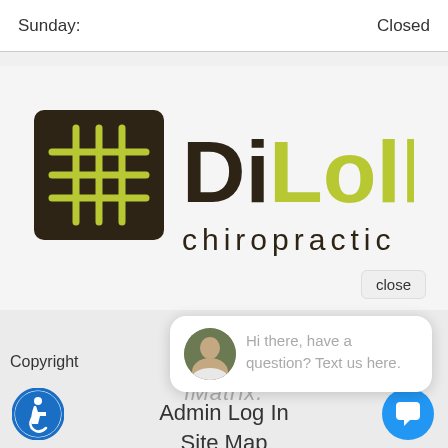| Sunday: | Closed |
[Figure (logo): DiLollo Chiropractic logo with dark brown square grid icon and green/dark text]
close
[Figure (screenshot): Chat popup with avatar photo and text: Hi there, have a question? Text us here.]
Copyright
iMatrix.
Admin Log In
Site Map